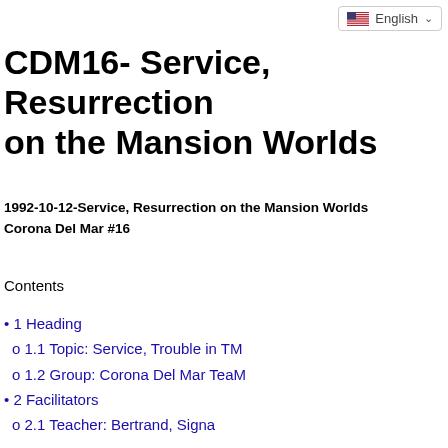English
CDM16- Service, Resurrection on the Mansion Worlds
1992-10-12-Service, Resurrection on the Mansion Worlds
Corona Del Mar #16
Contents
1 Heading
1.1 Topic: Service, Trouble in TM
1.2 Group: Corona Del Mar TeaM
2 Facilitators
2.1 Teacher: Bertrand, Signa